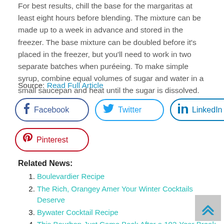For best results, chill the base for the margaritas at least eight hours before blending. The mixture can be made up to a week in advance and stored in the freezer. The base mixture can be doubled before it's placed in the freezer, but you'll need to work in two separate batches when puréeing. To make simple syrup, combine equal volumes of sugar and water in a small saucepan and heat until the sugar is dissolved.
Source: Read Full Article
[Figure (other): Social sharing buttons: Facebook, Twitter, LinkedIn, Pinterest]
Related News:
Boulevardier Recipe
The Rich, Orangey Amer Your Winter Cocktails Deserve
Bywater Cocktail Recipe
This Bourbon Just Came Back After a 102-Year Break and Sold Out in 12 Hours
The Deveraux